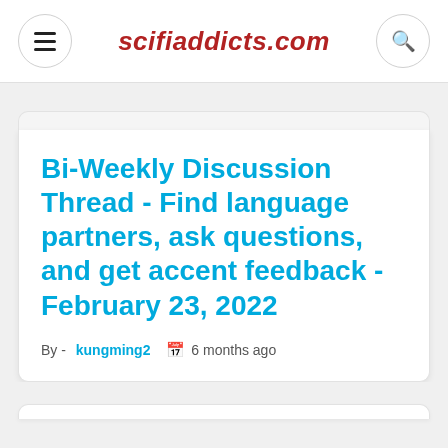scifiaddicts.com
Bi-Weekly Discussion Thread - Find language partners, ask questions, and get accent feedback - February 23, 2022
By - kungming2  6 months ago